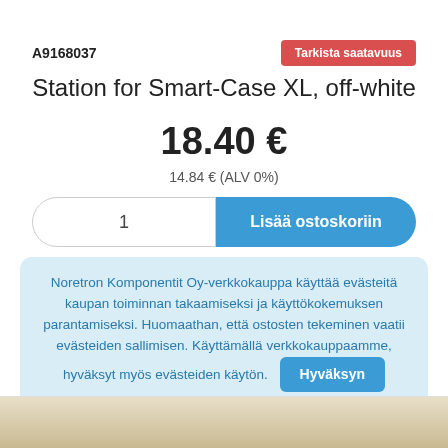A9168037
Tarkista saatavuus
Station for Smart-Case XL, off-white
18.40 €
14.84 € (ALV 0%)
1
Lisää ostoskoriin
Noretron Komponentit Oy-verkkokauppa käyttää evästeitä kaupan toiminnan takaamiseksi ja käyttökokemuksen parantamiseksi. Huomaathan, että ostosten tekeminen vaatii evästeiden sallimisen. Käyttämällä verkkokauppaamme, hyväksyt myös evästeiden käytön.
Hyväksyn